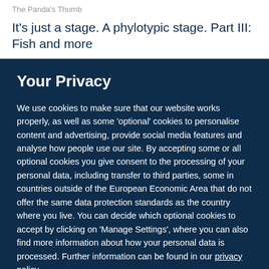The Panda's Thumb
It's just a stage. A phylotypic stage. Part III: Fish and more
Your Privacy
We use cookies to make sure that our website works properly, as well as some 'optional' cookies to personalise content and advertising, provide social media features and analyse how people use our site. By accepting some or all optional cookies you give consent to the processing of your personal data, including transfer to third parties, some in countries outside of the European Economic Area that do not offer the same data protection standards as the country where you live. You can decide which optional cookies to accept by clicking on 'Manage Settings', where you can also find more information about how your personal data is processed. Further information can be found in our privacy policy.
Accept all cookies
Manage preferences